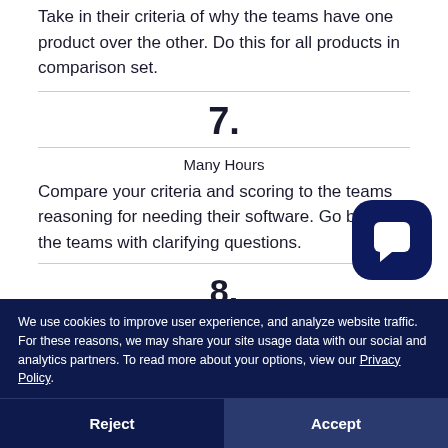Take in their criteria of why the teams have one product over the other. Do this for all products in comparison set.
7.
Many Hours
Compare your criteria and scoring to the teams reasoning for needing their software. Go back to the teams with clarifying questions.
8.
We use cookies to improve user experience, and analyze website traffic. For these reasons, we may share your site usage data with our social and analytics partners. To read more about your options, view our Privacy Policy.
Reject
Accept